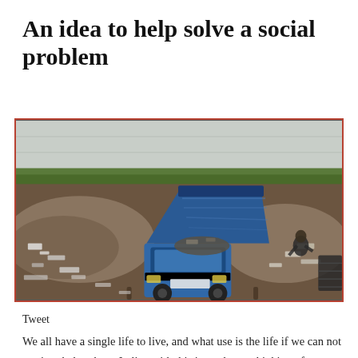An idea to help solve a social problem
[Figure (photo): A blue dump truck with its bed raised, unloading garbage at a large landfill site. Piles of waste surround the truck, and a worker is visible near the truck. A concrete wall and some green vegetation are visible in the background.]
Tweet
We all have a single life to live, and what use is the life if we can not use it to help others. In line with this i am always thinking of new